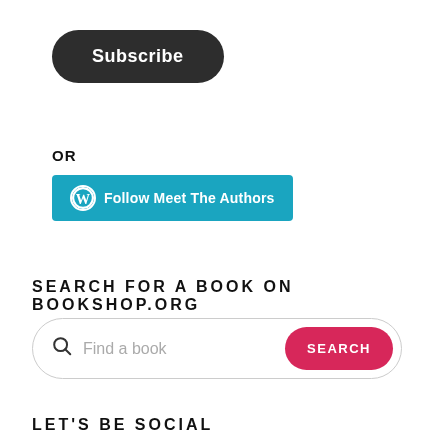[Figure (screenshot): Dark rounded pill-shaped Subscribe button with white bold text]
OR
[Figure (screenshot): Teal/cyan Follow Meet The Authors button with WordPress logo icon]
SEARCH FOR A BOOK ON BOOKSHOP.ORG
[Figure (screenshot): Search bar with magnifying glass icon, 'Find a book' placeholder, and a red SEARCH button on the right]
LET'S BE SOCIAL